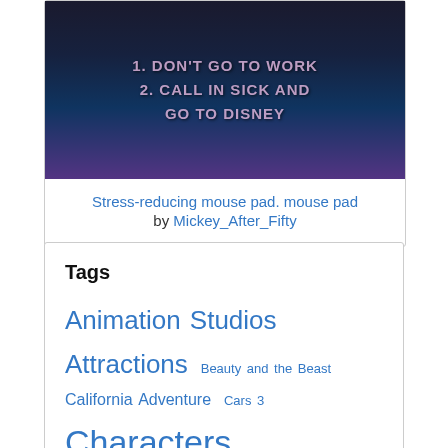[Figure (photo): Mouse pad with Disneyland castle at night, lit in blue, with text reading: 1. DON'T GO TO WORK 2. CALL IN SICK AND GO TO DISNEY]
Stress-reducing mouse pad. mouse pad by Mickey_After_Fifty
Tags
Animation Studios  Attractions  Beauty and the Beast  California Adventure  Cars 3  Characters  Cinderella  Club 33  Concerts  D23  dining  Disney  Disneyland